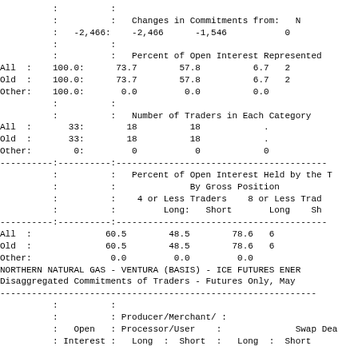|  |  | Changes in Commitments from: | N |
|  | -2,466: | -2,466 | -1,546 | 0 |  |
|  |  | Percent of Open Interest Represented |
| All | 100.0: | 73.7 | 57.8 | 6.7 | 2 |
| Old | 100.0: | 73.7 | 57.8 | 6.7 | 2 |
| Other: | 100.0: | 0.0 | 0.0 | 0.0 |
|  |  | Number of Traders in Each Category |
| All | 33: | 18 | 18 | . |
| Old | 33: | 18 | 18 | . |
| Other: | 0: | 0 | 0 | 0 |
|  |  | Percent of Open Interest Held by the T |
|  |  | By Gross Position |
|  |  | 4 or Less Traders | 8 or Less Trad |
|  |  | Long: | Short | Long | Sh |
| All |  | 60.5 | 48.5 | 78.6 | 6 |
| Old |  | 60.5 | 48.5 | 78.6 | 6 |
| Other: |  | 0.0 | 0.0 | 0.0 |
NORTHERN NATURAL GAS - VENTURA (BASIS) - ICE FUTURES ENER
Disaggregated Commitments of Traders - Futures Only, May
|  | Open | Producer/Merchant/ |  | Swap Dea |
| --- | --- | --- | --- | --- |
|  | Interest | Processor/User | Long | Short |
|  |  | Long : Short |  | Long : Short |